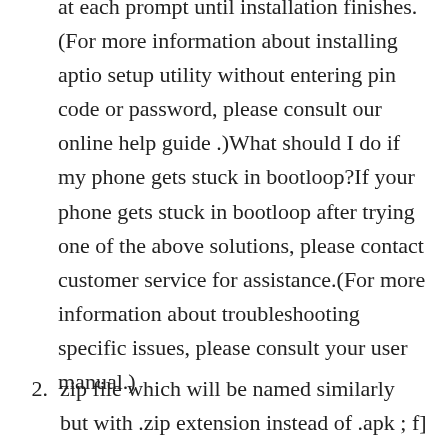at each prompt until installation finishes.(For more information about installing aptio setup utility without entering pin code or password, please consult our online help guide .)What should I do if my phone gets stuck in bootloop?If your phone gets stuck in bootloop after trying one of the above solutions, please contact customer service for assistance.(For more information about troubleshooting specific issues, please consult your user manual.)
zip file which will be named similarly but with .zip extension instead of .apk ; f] Double click on